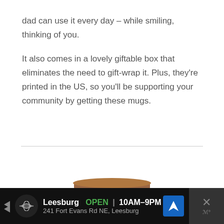dad can use it every day – while smiling, thinking of you.
It also comes in a lovely giftable box that eliminates the need to gift-wrap it. Plus, they’re printed in the US, so you’ll be supporting your community by getting these mugs.
[Figure (photo): Stack of wood slices or bread slices arranged in a cylindrical/cup shape, partially visible at bottom of page]
Leesburg  OPEN  10AM–9PM  241 Fort Evans Rd NE, Leesburg